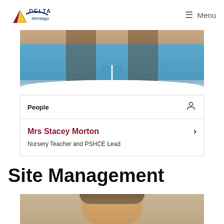[Figure (logo): Delta Montagu school logo with triangular graphic and text]
≡ Menu
[Figure (photo): Partial photo of a woman with long brown hair wearing a blue top and lanyard]
People
Mrs Stacey Morton
Nursery Teacher and PSHCE Lead
Site Management
[Figure (photo): Partial photo of a man's face with grey/brown hair, beige/tan background]